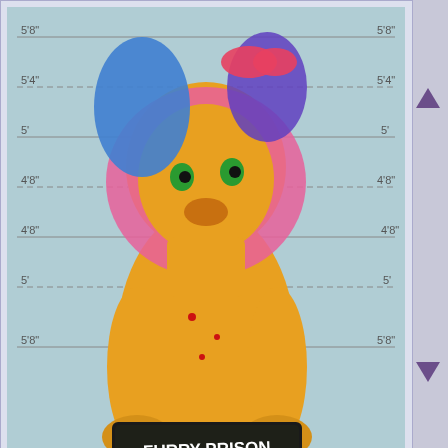[Figure (illustration): Furry anthropomorphic lion character with colorful pink and blue hair, depicted in a mugshot-style photo against a height measurement background. The character holds a sign reading 'FURRY PRISON LUNG FOUR HOLDS CHILD RAPE'.]
Anonymous 3 years ago No. 827592
>>827590
>anyways, i'm going to report her to the seattle police department for possession of child porn. bye.
Anonymous 3 years ago No. 828292
why is it always furries that have the most inbred pedos who jerk off to pictures of themselves as women?
Anonymous 3 years ago No. 831392